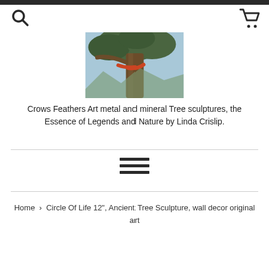[Figure (photo): A person hugging a large tree with mountains visible in the background; orange/red gloves visible on the arms wrapped around the trunk.]
Crows Feathers Art metal and mineral Tree sculptures, the Essence of Legends and Nature by Linda Crislip.
[Figure (other): Hamburger menu icon (three horizontal bars)]
Home › Circle Of Life 12", Ancient Tree Sculpture, wall decor original art